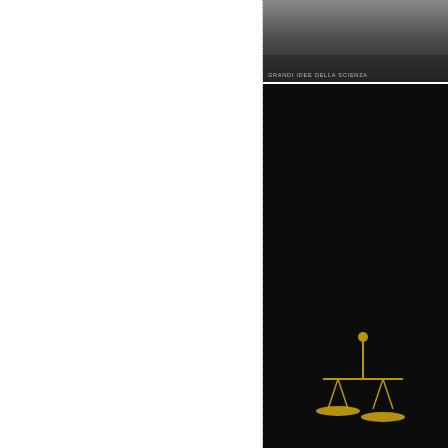[Figure (photo): Top portion of a dark book cover or photo, partially visible at upper right of page]
[Figure (photo): Italian book cover: 'DALTON La teoria atomica - Quanto pesano gli atomi?' on black background with balance scale image and 'GRANDI IDEE DELLA SCIENZA' text at bottom]
[Figure (photo): French 3D book cover: 'LE POIDS DES ATOMES' by DALTON, dark navy book on yellow/golden background]